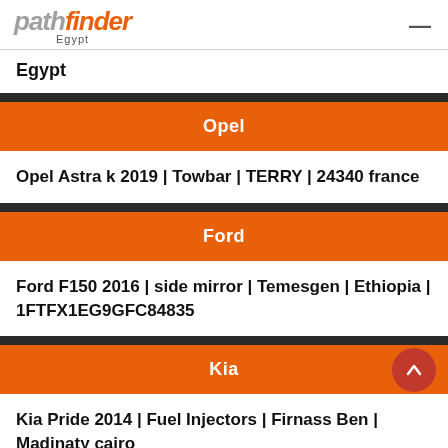pathfinder Egypt
Egypt
Opel
Opel Astra k 2019 | Towbar | TERRY | 24340 france
Ford
Ford F150 2016 | side mirror | Temesgen | Ethiopia | 1FTFX1EG9GFC84835
Kia
Kia Pride 2014 | Fuel Injectors | Firnass Ben | Madinaty cairo